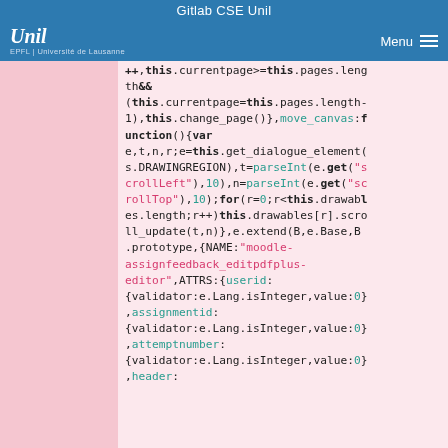Gitlab CSE Unil
[Figure (screenshot): University of Lausanne (UNIL) logo with Menu button on right, blue navigation bar]
++,this.currentpage>=this.pages.length&&(this.currentpage=this.pages.length-1),this.change_page()},move_canvas:function(){var e,t,n,r;e=this.get_dialogue_element(s.DRAWINGREGION),t=parseInt(e.get("scrollLeft"),10),n=parseInt(e.get("scrollTop"),10);for(r=0;r<this.drawables.length;r++)this.drawables[r].scroll_update(t,n)},e.extend(B,e.Base,B.prototype,{NAME:"moodle-assignfeedback_editpdfplus-editor",ATTRS:{userid:{validator:e.Lang.isInteger,value:0},assignmentid:{validator:e.Lang.isInteger,value:0},attemptnumber:{validator:e.Lang.isInteger,value:0},header: